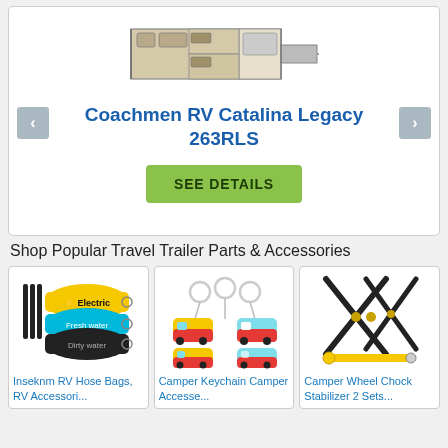[Figure (schematic): Floor plan schematic of Coachmen RV Catalina Legacy 263RLS]
Coachmen RV Catalina Legacy 263RLS
SEE DETAILS
Shop Popular Travel Trailer Parts & Accessories
[Figure (photo): Inseknm RV Hose bags with Electric, Fresh water, Dirty water labels]
Inseknm RV Hose Bags, RV Accessori...
[Figure (photo): Camper Keychain accessories with colorful camper-shaped keychains]
Camper Keychain Camper Accesse...
[Figure (photo): Camper Wheel Chock Stabilizer 2 Sets - X-shaped black wheel chocks with yellow wrench]
Camper Wheel Chock Stabilizer 2 Sets